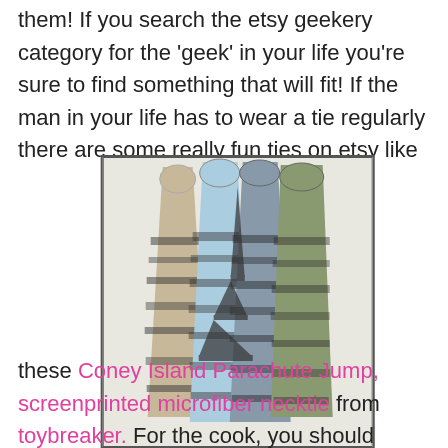them!  If you search the etsy geekery category for the 'geek' in your life you're sure to find something that will fit! If the man in your life has to wear a tie regularly there are some really fun ties on etsy like
[Figure (photo): Photo of several rolled/displayed neckties with Eiffel Tower screenprint design in various colors including light blue, gray, and olive/sage green, arranged on a white background.]
these Coney Island Parachute Jump, screenprinted microfiber necktie from toybreaker.  For the cook, you should definitely  check out GneissSpice's shop.